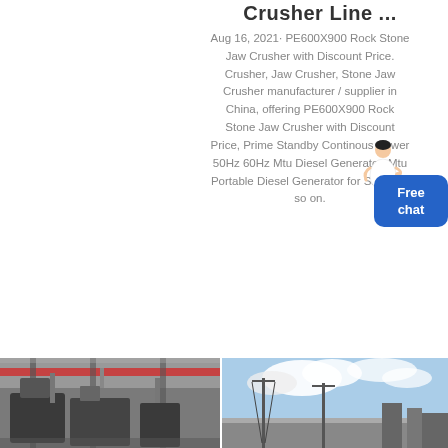Crusher Line ...
Aug 16, 2021· PE600X900 Rock Stone Jaw Crusher with Discount Price. Crusher, Jaw Crusher, Stone Jaw Crusher manufacturer / supplier in China, offering PE600X900 Rock Stone Jaw Crusher with Discount Price, Prime Standby Continous Power 50Hz 60Hz Mtu Diesel Generator, Mtu Portable Diesel Generator for Sale and so on.
[Figure (photo): Industrial crusher equipment facility interior with heavy machinery, overhead crane visible, dark metallic equipment]
[Figure (photo): Outdoor industrial equipment against blue sky with clouds, utility poles or industrial structures visible]